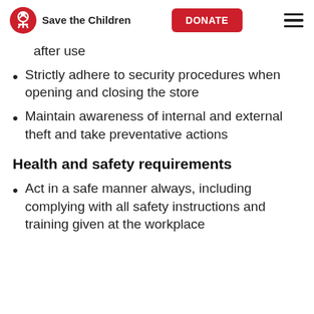Save the Children | DONATE
after use
Strictly adhere to security procedures when opening and closing the store
Maintain awareness of internal and external theft and take preventative actions
Health and safety requirements
Act in a safe manner always, including complying with all safety instructions and training given at the workplace